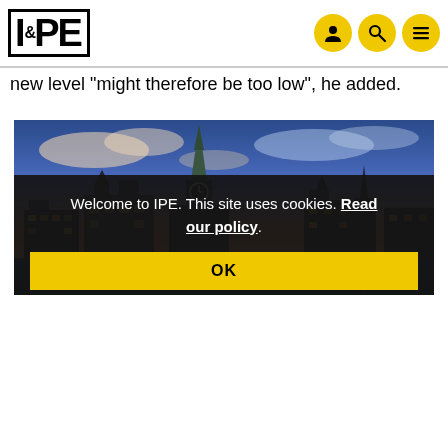IPE
new level "might therefore be too low", he added.
[Figure (photo): City skyline photo of Zurich with church spire and historic buildings at dusk/sunset with dramatic sky]
Welcome to IPE. This site uses cookies. Read our policy.
OK